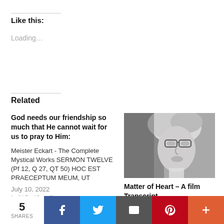Like this:
Loading...
Related
God needs our friendship so much that He cannot wait for us to pray to Him:
Meister Eckart - The Complete Mystical Works SERMON TWELVE (Pf 12, Q 27, QT 50) HOC EST PRAECEPTUM MEUM, UT
July 10, 2022
In "#CarlJung"
[Figure (photo): Black and white portrait photo of a woman with glasses and curly hair]
Matter of Heart – A film Transcript
July 2, 2022
In "#CarlJung"
5 SHARES  Facebook  Twitter  Email  Pinterest  More